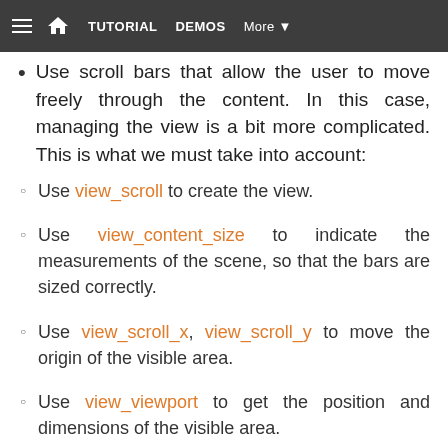TUTORIAL   DEMOS   More ▼
Use scroll bars that allow the user to move freely through the content. In this case, managing the view is a bit more complicated. This is what we must take into account:
Use view_scroll to create the view.
Use view_content_size to indicate the measurements of the scene, so that the bars are sized correctly.
Use view_scroll_x, view_scroll_y to move the origin of the visible area.
Use view_viewport to get the position and dimensions of the visible area.
Something very important is to avoid drawing